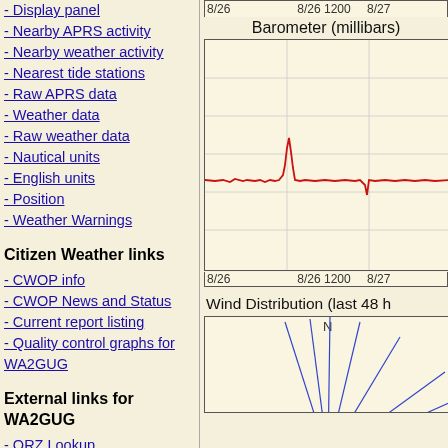- Display panel
- Nearby APRS activity
- Nearby weather activity
- Nearest tide stations
- Raw APRS data
- Weather data
- Raw weather data
- Nautical units
- English units
- Position
- Weather Warnings
Citizen Weather links
- CWOP info
- CWOP News and Status
- Current report listing
- Quality control graphs for WA2GUG
External links for WA2GUG
- QRZ Lookup
- MSN map (North...
Barometer (millibars)
[Figure (continuous-plot): Barometer (millibars) time series chart showing a mostly flat red line with a notable spike peak around 8/26 1200, spanning from 8/26 to 8/27. X-axis labels: 8/26, 8/26 1200, 8/27.]
Wind Distribution (last 48 h
[Figure (other): Wind distribution compass rose diagram showing blue lines radiating from center, with N label visible at top center, partial view.]